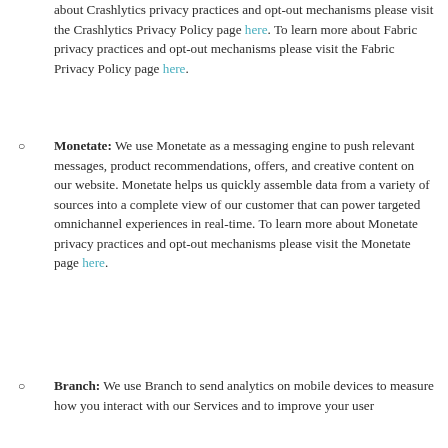about Crashlytics privacy practices and opt-out mechanisms please visit the Crashlytics Privacy Policy page here. To learn more about Fabric privacy practices and opt-out mechanisms please visit the Fabric Privacy Policy page here.
Monetate: We use Monetate as a messaging engine to push relevant messages, product recommendations, offers, and creative content on our website. Monetate helps us quickly assemble data from a variety of sources into a complete view of our customer that can power targeted omnichannel experiences in real-time. To learn more about Monetate privacy practices and opt-out mechanisms please visit the Monetate page here.
Branch: We use Branch to send analytics on mobile devices to measure how you interact with our Services and to improve your user